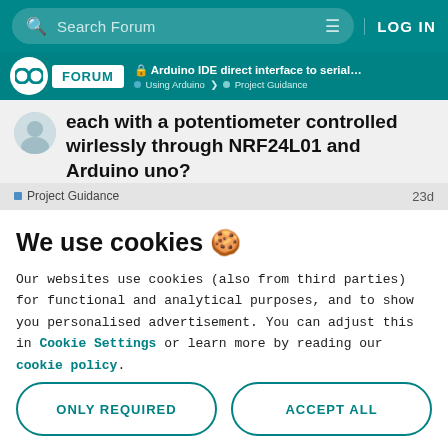Search Forum | LOG IN
Arduino IDE direct interface to serial boo... | Using Arduino > Project Guidance
each with a potentiometer controlled wirlessly through NRF24L01 and Arduino uno?
Project Guidance   23d
We use cookies 🍪
Our websites use cookies (also from third parties) for functional and analytical purposes, and to show you personalised advertisement. You can adjust this in Cookie Settings or learn more by reading our cookie policy.
ONLY REQUIRED
ACCEPT ALL